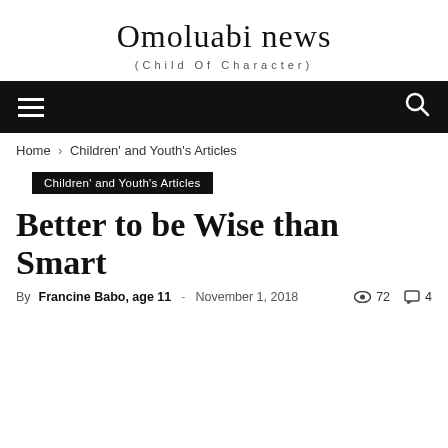Omoluabi news
(Child Of Character)
Children' and Youth's Articles
Better to be Wise than Smart
By Francine Babo, age 11 - November 1, 2018  72  4